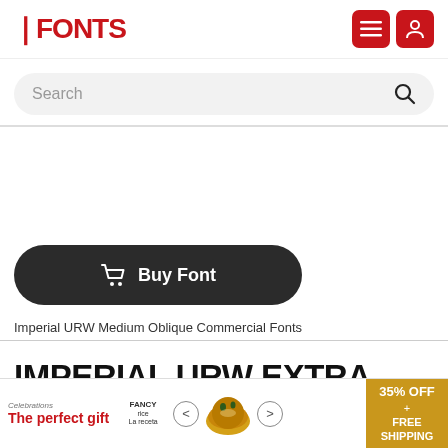FFONTS
[Figure (screenshot): Search bar with placeholder text 'Search' and magnifying glass icon on grey rounded background]
[Figure (other): Buy Font button - dark rounded button with shopping cart icon and text 'Buy Font']
Imperial URW Medium Oblique Commercial Fonts
IMPERIAL URW EXTRA WIDE ULTRA
[Figure (other): Bottom advertisement banner: 'The perfect gift' with food product image, navigation arrows, and '35% OFF + FREE SHIPPING' gold badge]